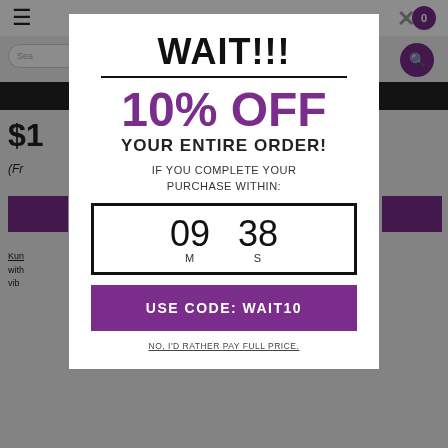[Figure (screenshot): Background e-commerce webpage with hamburger menu, search bar, cart icon, black navigation bar, price text starting with $1, purple buttons, and product description text]
WAIT!!!
10% OFF
YOUR ENTIRE ORDER!
IF YOU COMPLETE YOUR PURCHASE WITHIN:
09 M  38 S
USE CODE: WAIT10
NO, I'D RATHER PAY FULL PRICE.